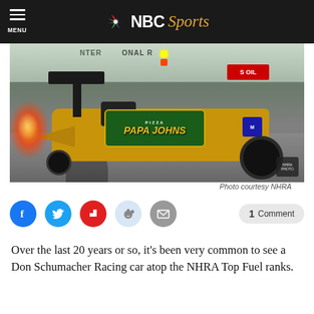NBC Sports
[Figure (photo): A Papa Johns sponsored Don Schumacher Racing Top Fuel dragster on the track at an NHRA event, gold/yellow colored car with Papa Johns logo, flames visible at the left, race track and crowd in background.]
Photo courtesy NHRA
Social share buttons: Facebook, Twitter, Flipboard, Reddit, Email. 1 Comment.
Over the last 20 years or so, it's been very common to see a Don Schumacher Racing car atop the NHRA Top Fuel ranks.